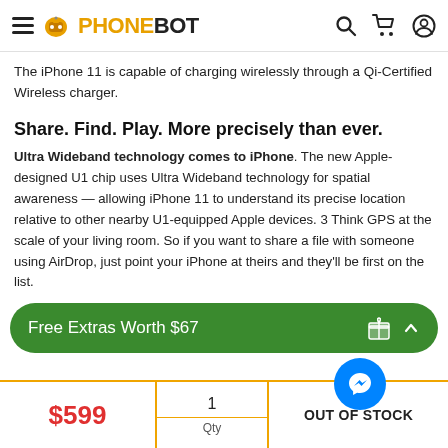PHONEBOT
The iPhone 11 is capable of charging wirelessly through a Qi-Certified Wireless charger.
Share. Find. Play. More precisely than ever.
Ultra Wideband technology comes to iPhone. The new Apple-designed U1 chip uses Ultra Wideband technology for spatial awareness — allowing iPhone 11 to understand its precise location relative to other nearby U1-equipped Apple devices. 3 Think GPS at the scale of your living room. So if you want to share a file with someone using AirDrop, just point your iPhone at theirs and they'll be first on the list.
Free Extras Worth $67
$599 | 1 Qty | OUT OF STOCK